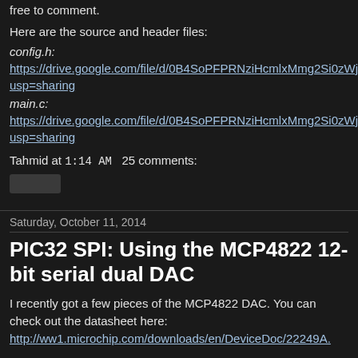free to comment.
Here are the source and header files:
config.h: https://drive.google.com/file/d/0B4SoPFPRNziHcmlxMmg2Si0zWjQ/view?usp=sharing
main.c: https://drive.google.com/file/d/0B4SoPFPRNziHcmlxMmg2Si0zWjQ/view?usp=sharing
Tahmid at 1:14 AM   25 comments:
Saturday, October 11, 2014
PIC32 SPI: Using the MCP4822 12-bit serial dual DAC
I recently got a few pieces of the MCP4822 DAC. You can check out the datasheet here: http://ww1.microchip.com/downloads/en/DeviceDoc/22249A.